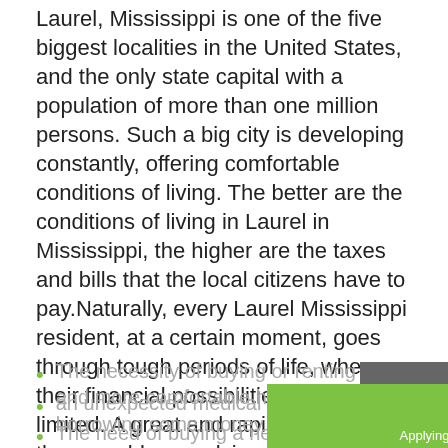Laurel, Mississippi is one of the five biggest localities in the United States, and the only state capital with a population of more than one million persons. Such a big city is developing constantly, offering comfortable conditions of living. The better are the conditions of living in Laurel in Mississippi, the higher are the taxes and bills that the local citizens have to pay.Naturally, every Laurel Mississippi resident, at a certain moment, goes through tough periods of life, when their financial possibilities are strictly limited. A great and rapid helper in these problems solving process are the payday loans. It is an excellent way of achieving the required money support, in case of the appearance of unexpected expenses, like:
The necessity of buying or renting a bigger and more comfortable house, through borrowing some money from payday loans;
[Figure (other): Gray scroll-to-top button with white upward arrow]
[Figure (other): Green Apply Now banner with text 'Apply Now', 'Applying does NOT affect your credit score!', 'No credit check to apply.']
an unexpected medical bill;
The need of buying a new car to move around Laurel